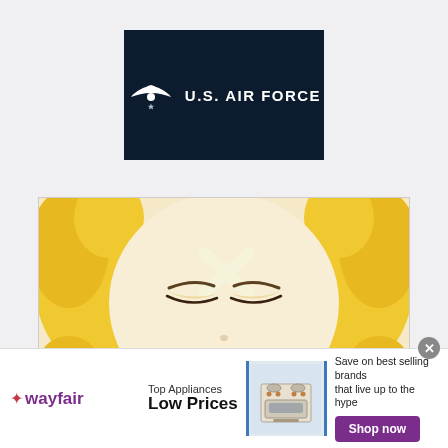[Figure (logo): U.S. Air Force logo on dark navy background — white wing/eagle emblem icon with text 'U.S. AIR FORCE']
[Figure (photo): Anime character with blonde spiky hair, glowing yellow eyes, closed/squinting expression, and sharp teeth in a grin — close-up face shot]
[Figure (infographic): Wayfair advertisement banner: Wayfair logo (purple star + 'wayfair'), 'Top Appliances / Low Prices' copy, photo of a stove/range appliance, text 'Save on best selling brands that live up to the hype', purple 'Shop now' button]